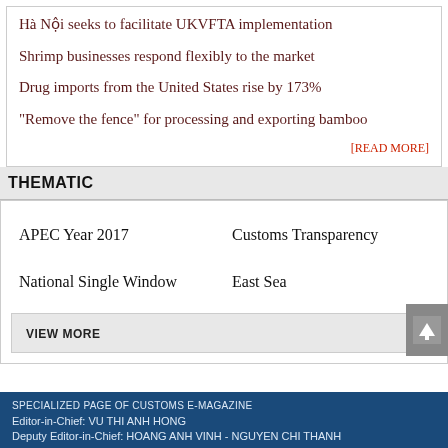Hà Nội seeks to facilitate UKVFTA implementation
Shrimp businesses respond flexibly to the market
Drug imports from the United States rise by 173%
"Remove the fence" for processing and exporting bamboo
[READ MORE]
THEMATIC
APEC Year 2017
Customs Transparency
National Single Window
East Sea
VIEW MORE
SPECIALIZED PAGE OF CUSTOMS E-MAGAZINE
Editor-in-Chief: VU THI ANH HONG
Deputy Editor-in-Chief: HOANG ANH VINH - NGUYEN CHI THANH